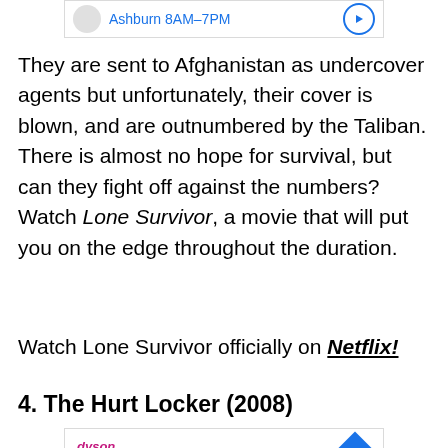[Figure (screenshot): Ad banner showing Ashburn 8AM-7PM with logo circle and arrow button]
They are sent to Afghanistan as undercover agents but unfortunately, their cover is blown, and are outnumbered by the Taliban. There is almost no hope for survival, but can they fight off against the numbers? Watch Lone Survivor, a movie that will put you on the edge throughout the duration.
Watch Lone Survivor officially on Netflix!
4. The Hurt Locker (2008)
[Figure (screenshot): Advertisement for Dyson showing In-store shopping checkmark, In-store pickup X, Delivery checkmark, with blue diamond arrow icon and play/close icons]